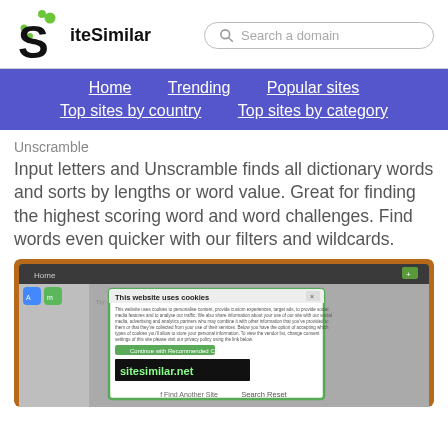[Figure (logo): SiteSimilar logo with stylized S and green dots]
Search a domain
Home   Trending   Popular sites   Top sites by country   Top sites by category
Unscramble
Input letters and Unscramble finds all dictionary words and sorts by lengths or word value. Great for finding the highest scoring word and word challenges. Find words even quicker with our filters and wildcards.
[Figure (screenshot): Screenshot of a website with a cookie consent modal overlay showing sitesimilar.net text in green on black background]